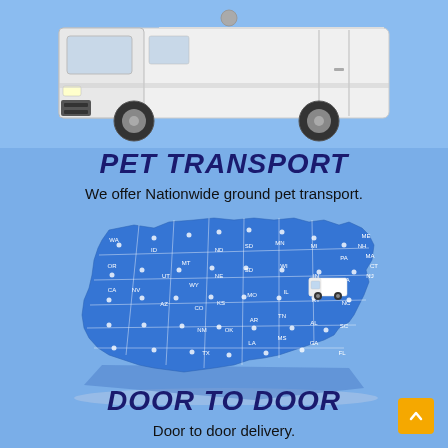[Figure (photo): White cargo van / delivery van shown from front-quarter view, partially cropped at top of image, on a light blue background.]
PET TRANSPORT
We offer Nationwide ground pet transport.
[Figure (map): 3D isometric map of the United States in blue with white state boundaries and route lines, state abbreviations labeled, with a white cargo van icon placed in the northeast region.]
DOOR TO DOOR
Door to door delivery.